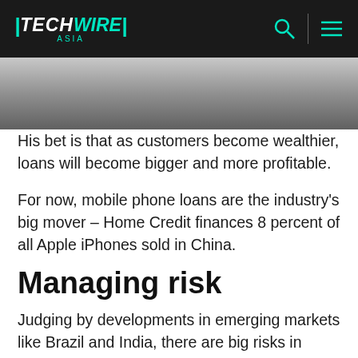TECHWIRE ASIA
[Figure (photo): Partial photo strip showing a person, cut off at top of content area]
His bet is that as customers become wealthier, loans will become bigger and more profitable.
For now, mobile phone loans are the industry's big mover – Home Credit finances 8 percent of all Apple iPhones sold in China.
Managing risk
Judging by developments in emerging markets like Brazil and India, there are big risks in small loans.
John Chen, China managing director for credit rating services firm FICO, says lenders need to use “alternative data”, from mobile phone charges to